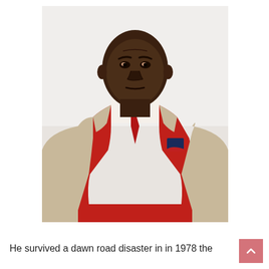[Figure (photo): Portrait photograph of an elderly Black man dressed in a beige/cream blazer, red V-neck sweater, white collared shirt, and red tie. A navy and red pocket square is visible in his breast pocket. He sits with a serious expression, looking directly at the camera. The background is bright white/light grey.]
He survived a dawn road disaster in in 1978 the